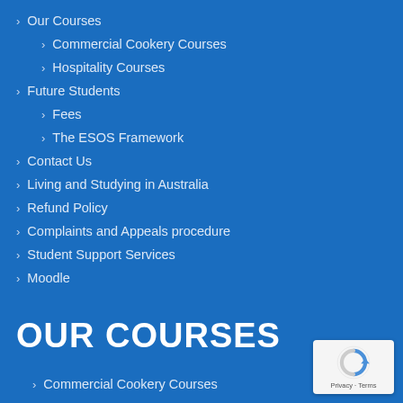Our Courses
Commercial Cookery Courses
Hospitality Courses
Future Students
Fees
The ESOS Framework
Contact Us
Living and Studying in Australia
Refund Policy
Complaints and Appeals procedure
Student Support Services
Moodle
OUR COURSES
Commercial Cookery Courses
Hospitality Courses
[Figure (logo): reCAPTCHA badge with Privacy and Terms links]